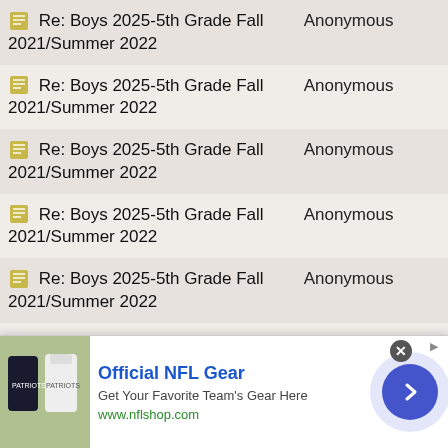| Topic | Author |
| --- | --- |
| Re: Boys 2025-5th Grade Fall 2021/Summer 2022 | Anonymous |
| Re: Boys 2025-5th Grade Fall 2021/Summer 2022 | Anonymous |
| Re: Boys 2025-5th Grade Fall 2021/Summer 2022 | Anonymous |
| Re: Boys 2025-5th Grade Fall 2021/Summer 2022 | Anonymous |
| Re: Boys 2025-5th Grade Fall 2021/Summer 2022 | Anonymous |
| Re: Boys 2025-5th Grade Fall 2021/Summer 2022 | Anonymous |
| Re: Boys 2025-5th Grade Fall 2021/Summer 2022 | Anonymous |
| Re: Boys 2025-5th Grade Fall 2021/Summer 2022 | Anonymous |
[Figure (other): Advertisement banner for Official NFL Gear from nflshop.com with a photo of Patriots jerseys, blue arrow button, and close button]